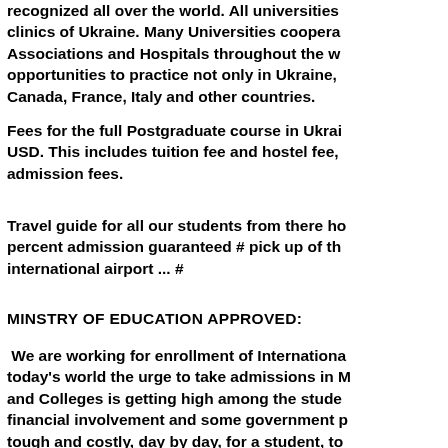recognized all over the world. All universities... clinics of Ukraine. Many Universities coopera... Associations and Hospitals throughout the w... opportunities to practice not only in Ukraine, Canada, France, Italy and other countries.
Fees for the full Postgraduate course in Ukrai... USD. This includes tuition fee and hostel fee, admission fees.
Travel guide for all our students from there ho... percent admission guaranteed # pick up of th... international airport ... #
MINSTRY OF EDUCATION APPROVED:
We are working for enrollment of Internationa... today's world the urge to take admissions in M... and Colleges is getting high among the stude... financial involvement and some government p... tough and costly, day by day, for a student, to... and Engineering Universities. We have come ... We came into action at that time of life when t... help you find the most affordable Medical, En...